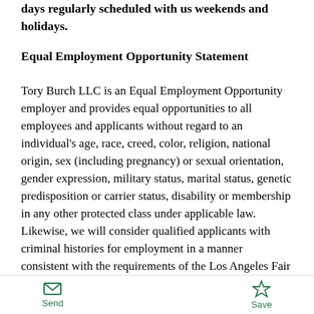days regularly scheduled with us weekends and holidays.
Equal Employment Opportunity Statement
Tory Burch LLC is an Equal Employment Opportunity employer and provides equal opportunities to all employees and applicants without regard to an individual's age, race, creed, color, religion, national origin, sex (including pregnancy) or sexual orientation, gender expression, military status, marital status, genetic predisposition or carrier status, disability or membership in any other protected class under applicable law. Likewise, we will consider qualified applicants with criminal histories for employment in a manner consistent with the requirements of the Los Angeles Fair Chance Initiative for Hiring, Ordinance No. 184652. Pursuant to the San Francisco Fair Chance Ordinance, we will consider qualified applicants with criminal histories in
Send  Save